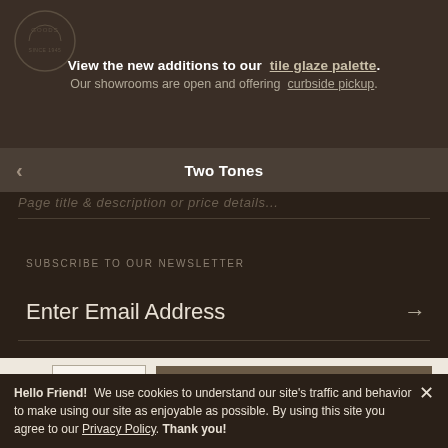View the new additions to our tile glaze palette. Our showrooms are open and offering curbside pickup.
Two Tones
Page title / description or price details (truncated)
SUBSCRIBE TO OUR NEWSLETTER
Enter Email Address →
Qty: − 1 + $110.00 - Add to Cart
Hello Friend! We use cookies to understand our site's traffic and behavior to make using our site as enjoyable as possible. By using this site you agree to our Privacy Policy. Thank you!